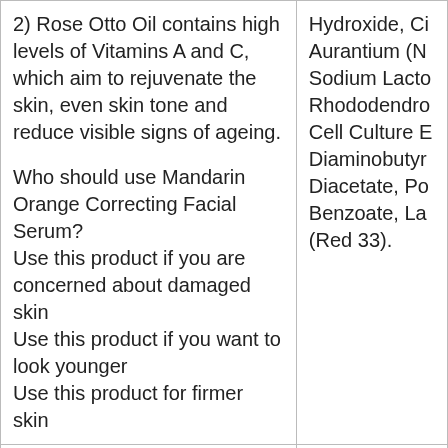| 2) Rose Otto Oil contains high levels of Vitamins A and C, which aim to rejuvenate the skin, even skin tone and reduce visible signs of ageing.

Who should use Mandarin Orange Correcting Facial Serum?
Use this product if you are concerned about damaged skin
Use this product if you want to look younger
Use this product for firmer skin | Hydroxide, Citrus Aurantium (N... Sodium Lacto... Rhododendro... Cell Culture E... Diaminobutyr... Diacetate, Po... Benzoate, La... (Red 33). |
| Our Mandarin Orange Restorative Serum targets the key signs of ageing around the eyes. A combination of hydrating and nourishing actives aim to leave the eyes awakened, bright and rejuvenated. |  |